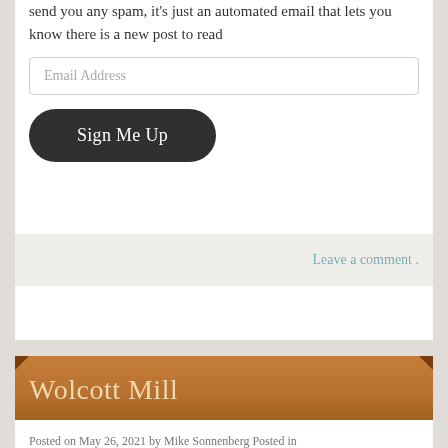send you any spam, it's just an automated email that lets you know there is a new post to read
Email Address
Sign Me Up
Leave a comment .
Wolcott Mill
Posted on May 26, 2021 by Mike Sonnenberg Posted in Grain Elevators .